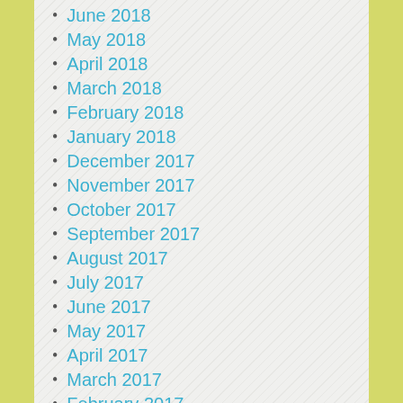June 2018
May 2018
April 2018
March 2018
February 2018
January 2018
December 2017
November 2017
October 2017
September 2017
August 2017
July 2017
June 2017
May 2017
April 2017
March 2017
February 2017
January 2017
December 2016
November 2016